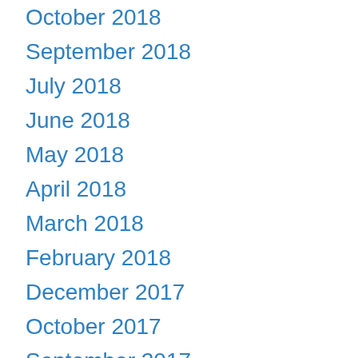October 2018
September 2018
July 2018
June 2018
May 2018
April 2018
March 2018
February 2018
December 2017
October 2017
September 2017
July 2017
June 2017
May 2017
April 2017